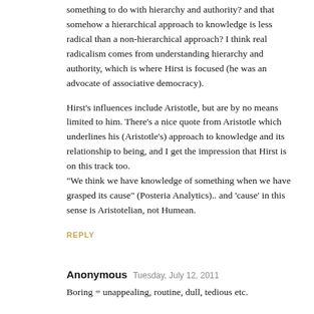something to do with hierarchy and authority? and that somehow a hierarchical approach to knowledge is less radical than a non-hierarchical approach? I think real radicalism comes from understanding hierarchy and authority, which is where Hirst is focused (he was an advocate of associative democracy).
Hirst's influences include Aristotle, but are by no means limited to him. There's a nice quote from Aristotle which underlines his (Aristotle's) approach to knowledge and its relationship to being, and I get the impression that Hirst is on this track too.
"We think we have knowledge of something when we have grasped its cause" (Posteria Analytics).. and 'cause' in this sense is Aristotelian, not Humean.
REPLY
Anonymous  Tuesday, July 12, 2011
Boring = unappealing, routine, dull, tedious etc.